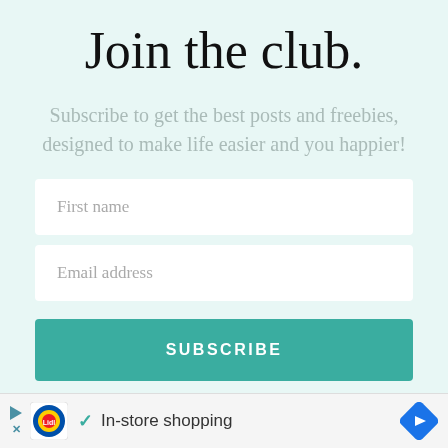Join the club.
Subscribe to get the best posts and freebies, designed to make life easier and you happier!
First name
Email address
SUBSCRIBE
In-store shopping